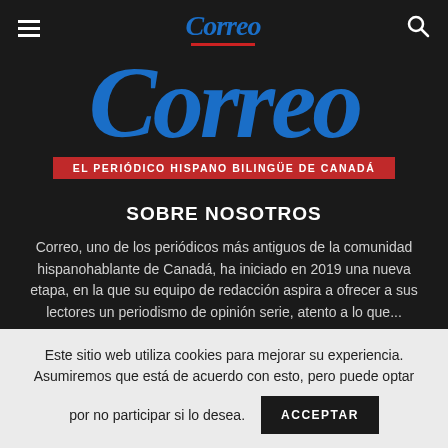Correo
[Figure (logo): Large blue italic 'Correo' logo with red underline and red tagline bar reading 'EL PERIÓDICO HISPANO BILINGÜE DE CANADÁ']
SOBRE NOSOTROS
Correo, uno de los periódicos más antiguos de la comunidad hispanohablante de Canadá, ha iniciado en 2019 una nueva etapa, en la que su equipo de redacción aspira a ofrecer a sus lectores un periodismo de opinión serie, atento a lo que...
Este sitio web utiliza cookies para mejorar su experiencia. Asumiremos que está de acuerdo con esto, pero puede optar por no participar si lo desea. ACCEPTAR